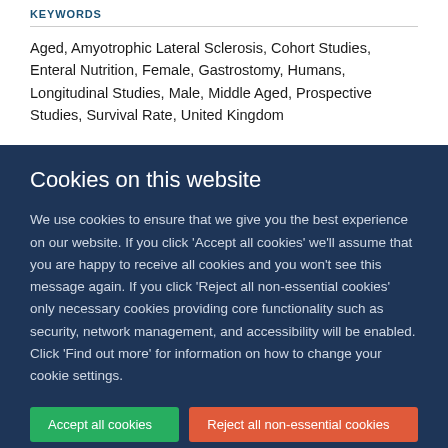KEYWORDS
Aged, Amyotrophic Lateral Sclerosis, Cohort Studies, Enteral Nutrition, Female, Gastrostomy, Humans, Longitudinal Studies, Male, Middle Aged, Prospective Studies, Survival Rate, United Kingdom
Cookies on this website
We use cookies to ensure that we give you the best experience on our website. If you click 'Accept all cookies' we'll assume that you are happy to receive all cookies and you won't see this message again. If you click 'Reject all non-essential cookies' only necessary cookies providing core functionality such as security, network management, and accessibility will be enabled. Click 'Find out more' for information on how to change your cookie settings.
Accept all cookies
Reject all non-essential cookies